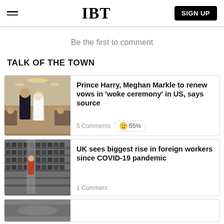IBT | SIGN UP
Be the first to comment
TALK OF THE TOWN
Prince Harry, Meghan Markle to renew vows in 'woke ceremony' in US, says source — 5 Comments | 😐 65%
UK sees biggest rise in foreign workers since COVID-19 pandemic — 1 Comment